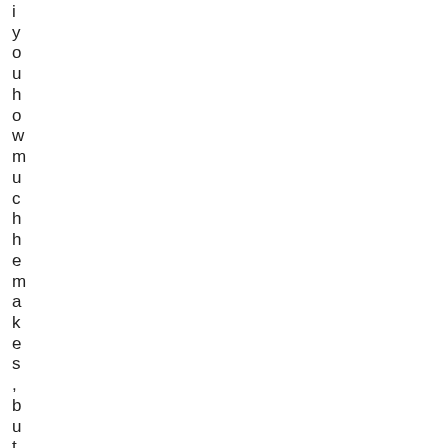if you how much he makes, but the must d